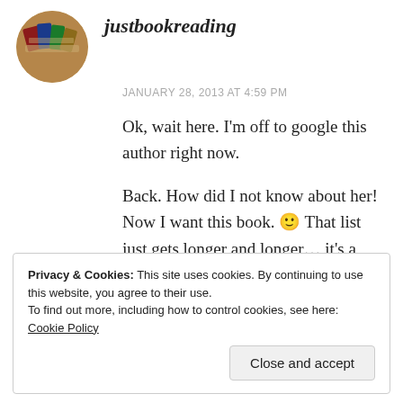[Figure (photo): Circular avatar image of a stack of books, used as user profile picture for justbookreading]
justbookreading
JANUARY 28, 2013 AT 4:59 PM
Ok, wait here. I'm off to google this author right now.
Back. How did I not know about her! Now I want this book. 🙂 That list just gets longer and longer… it's a thing of beauty that ginormous list.
Privacy & Cookies: This site uses cookies. By continuing to use this website, you agree to their use.
To find out more, including how to control cookies, see here: Cookie Policy
Close and accept